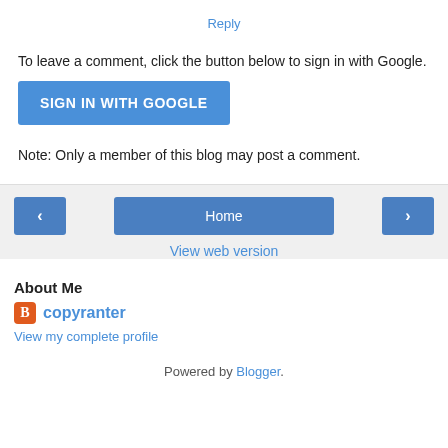Reply
To leave a comment, click the button below to sign in with Google.
[Figure (other): Blue button labeled SIGN IN WITH GOOGLE]
Note: Only a member of this blog may post a comment.
[Figure (other): Navigation row with left arrow button, Home button, and right arrow button]
View web version
About Me
copyranter
View my complete profile
Powered by Blogger.